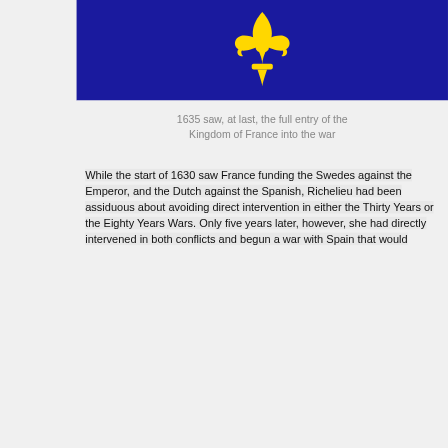[Figure (illustration): Dark navy/blue banner background with a large golden yellow fleur-de-lis symbol centered on it]
1635 saw, at last, the full entry of the Kingdom of France into the war
While the start of 1630 saw France funding the Swedes against the Emperor, and the Dutch against the Spanish, Richelieu had been assiduous about avoiding direct intervention in either the Thirty Years or the Eighty Years Wars. Only five years later, however, she had directly intervened in both conflicts and begun a war with Spain that would